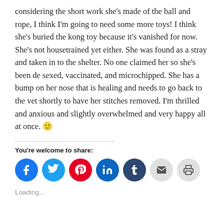considering the short work she's made of the ball and rope, I think I'm going to need some more toys! I think she's buried the kong toy because it's vanished for now. She's not housetrained yet either. She was found as a stray and taken in to the shelter. No one claimed her so she's been de sexed, vaccinated, and microchipped. She has a bump on her nose that is healing and needs to go back to the vet shortly to have her stitches removed. I'm thrilled and anxious and slightly overwhelmed and very happy all at once. 🙂
You're welcome to share:
[Figure (infographic): Row of social share buttons: Facebook (blue), Twitter (light blue), Pinterest (red), LinkedIn (blue), Tumblr (dark blue), Email (grey), Print (grey)]
Loading...